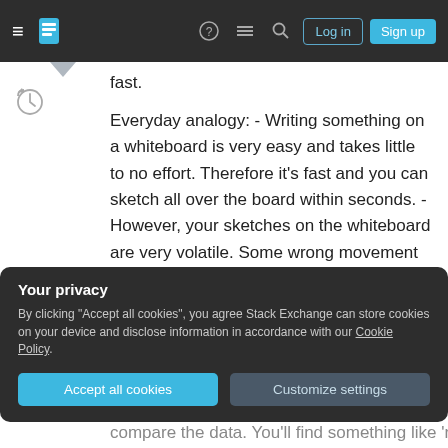Stack Exchange navigation bar with Log in and Sign up buttons
fast.
Everyday analogy: - Writing something on a whiteboard is very easy and takes little to no effort. Therefore it's fast and you can sketch all over the board within seconds. - However, your sketches on the whiteboard are very volatile. Some wrong movement and everything is gone. - Take some stone plate and engrave your sketch there - like The Flintstones style - and your sketch will stay there for years, decades or possibly centuries to come.
Your privacy
By clicking "Accept all cookies", you agree Stack Exchange can store cookies on your device and disclose information in accordance with our Cookie Policy.
Accept all cookies   Customize settings
compare the data. You'll find something like 'reading